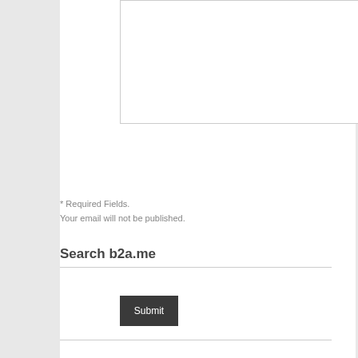[Figure (screenshot): A textarea input box with a resize handle in the bottom-right corner]
Submit
* Required Fields.
Your email will not be published.
Search b2a.me
[Figure (screenshot): Search input field with placeholder text 'Type & Hit Enter to Search']